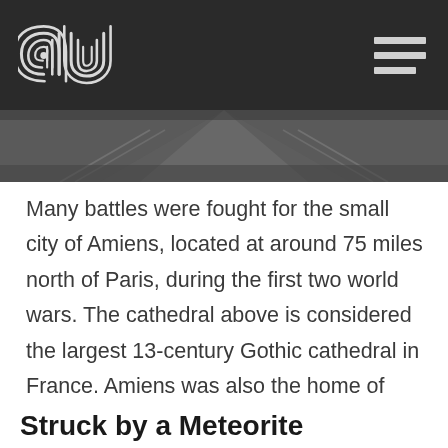au (logo) | hamburger menu
[Figure (photo): Black and white photograph of a garden or courtyard, appears to be near Amiens cathedral, viewed from above looking down a path flanked by railings.]
Many battles were fought for the small city of Amiens, located at around 75 miles north of Paris, during the first two world wars. The cathedral above is considered the largest 13-century Gothic cathedral in France. Amiens was also the home of Jules Verne.
Struck by a Meteorite